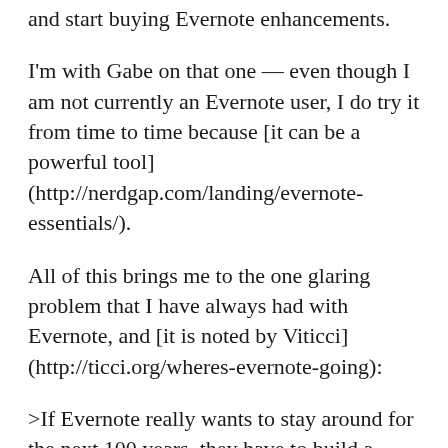and start buying Evernote enhancements.
I'm with Gabe on that one — even though I am not currently an Evernote user, I do try it from time to time because [it can be a powerful tool](http://nerdgap.com/landing/evernote-essentials/).
All of this brings me to the one glaring problem that I have always had with Evernote, and [it is noted by Viticci](http://ticci.org/wheres-evernote-going):
>If Evernote really wants to stay around for the next 100 years, they have to build a solid foundation of connected apps *now*.